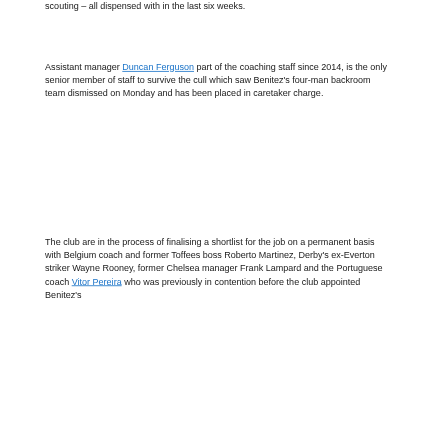scouting – all dispensed with in the last six weeks.
Assistant manager Duncan Ferguson part of the coaching staff since 2014, is the only senior member of staff to survive the cull which saw Benitez's four-man backroom team dismissed on Monday and has been placed in caretaker charge.
The club are in the process of finalising a shortlist for the job on a permanent basis with Belgium coach and former Toffees boss Roberto Martinez, Derby's ex-Everton striker Wayne Rooney, former Chelsea manager Frank Lampard and the Portuguese coach Vitor Pereira who was previously in contention before the club appointed Benitez's